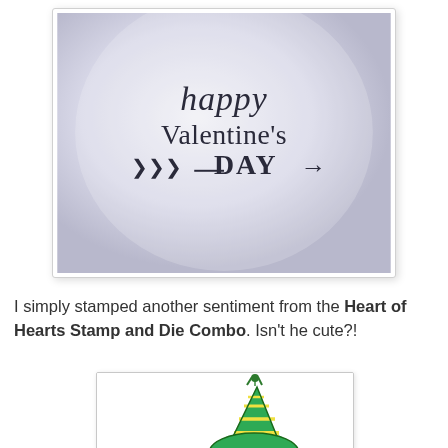[Figure (photo): Photo of a balloon or round white surface stamped with 'happy Valentine's DAY→' text in dark ink with arrow decoration]
I simply stamped another sentiment from the Heart of Hearts Stamp and Die Combo. Isn't he cute?!
[Figure (illustration): Partial illustration of a green cartoon character wearing a striped birthday/party hat]